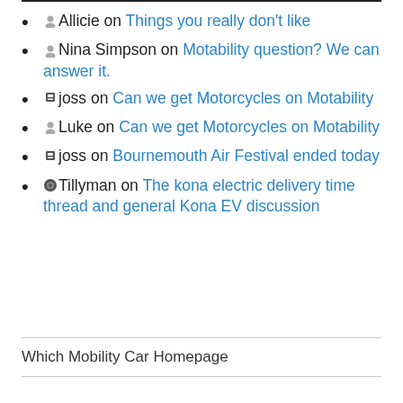Allicie on Things you really don't like
Nina Simpson on Motability question? We can answer it.
joss on Can we get Motorcycles on Motability
Luke on Can we get Motorcycles on Motability
joss on Bournemouth Air Festival ended today
Tillyman on The kona electric delivery time thread and general Kona EV discussion
Which Mobility Car Homepage